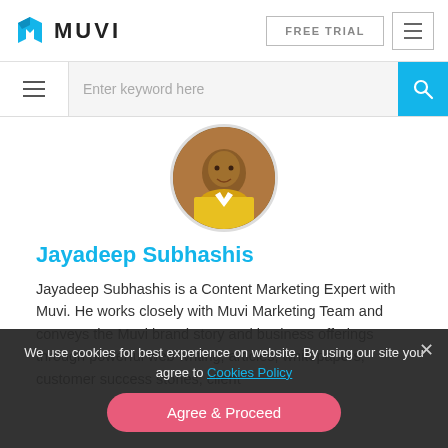MUVI — FREE TRIAL
[Figure (screenshot): Muvi logo with blue angular icon and MUVI text, FREE TRIAL button, hamburger menu button]
[Figure (screenshot): Search bar with hamburger on left, 'Enter keyword here' input field, cyan search icon button]
[Figure (photo): Circular profile photo of Jayadeep Subhashis in a yellow shirt]
Jayadeep Subhashis
Jayadeep Subhashis is a Content Marketing Expert with Muvi. He works closely with Muvi Marketing Team and conveys the Muvi brand story and business offerings through powerful web writing, articles, whitepapers, customer success stories, client
We use cookies for best experience on website. By using our site you agree to Cookies Policy
Agree & Proceed